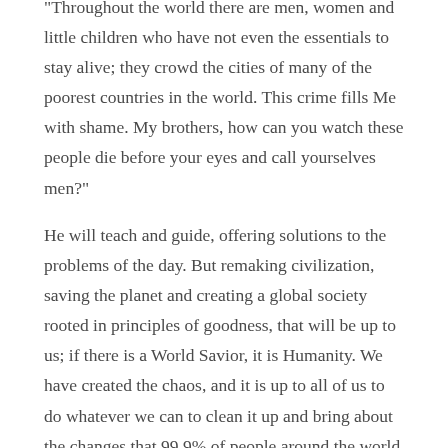"Throughout the world there are men, women and little children who have not even the essentials to stay alive; they crowd the cities of many of the poorest countries in the world. This crime fills Me with shame. My brothers, how can you watch these people die before your eyes and call yourselves men?"
He will teach and guide, offering solutions to the problems of the day. But remaking civilization, saving the planet and creating a global society rooted in principles of goodness, that will be up to us; if there is a World Savior, it is Humanity. We have created the chaos, and it is up to all of us to do whatever we can to clean it up and bring about the changes that 99.9% of people around the world crave; changes that will allow everyone to live dignified, fulfilling lives free from exploitation and persecution, a New World, as